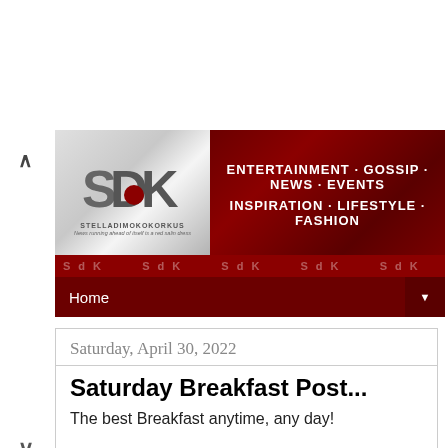[Figure (logo): SDK (StelladiMokokorkus) website header banner with logo on silver gradient background and dark red section with text: ENTERTAINMENT · GOSSIP · NEWS · EVENTS INSPIRATION · LIFESTYLE · FASHION]
Home
Saturday, April 30, 2022
Saturday Breakfast Post...
The best Breakfast anytime, any day!